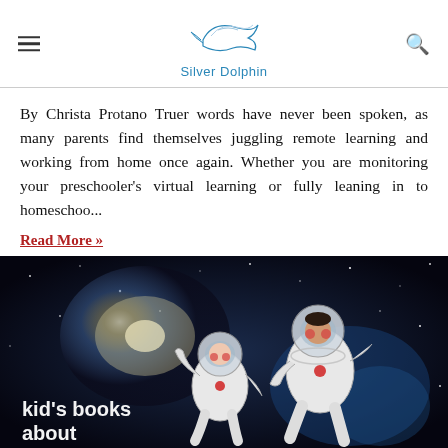Silver Dolphin
By Christa Protano Truer words have never been spoken, as many parents find themselves juggling remote learning and working from home once again. Whether you are monitoring your preschooler's virtual learning or fully leaning in to homeschoo...
Read More »
[Figure (illustration): Space scene with galaxy and two cartoon astronaut figures floating, with text 'kid's books about' in white bold font in lower left corner]